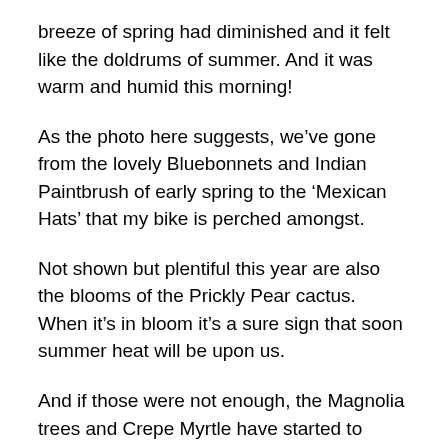breeze of spring had diminished and it felt like the doldrums of summer. And it was warm and humid this morning!
As the photo here suggests, we’ve gone from the lovely Bluebonnets and Indian Paintbrush of early spring to the ‘Mexican Hats’ that my bike is perched amongst.
Not shown but plentiful this year are also the blooms of the Prickly Pear cactus. When it’s in bloom it’s a sure sign that soon summer heat will be upon us.
And if those were not enough, the Magnolia trees and Crepe Myrtle have started to bloom. The Magnolia trees in particular are a welcome addition for the scent alone.
And if you’re a cyclist like me, you begin to notice that the little lizards come out to sun by the side of the road. They